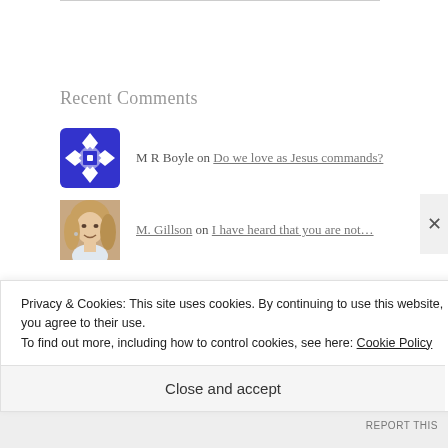Recent Comments
M R Boyle on Do we love as Jesus commands?
M. Gillson on I have heard that you are not…
Archives
Privacy & Cookies: This site uses cookies. By continuing to use this website, you agree to their use.
To find out more, including how to control cookies, see here: Cookie Policy
Close and accept